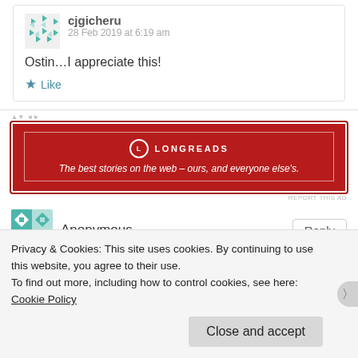cjgicheru
28 Feb 2019 at 6:19 am
Ostin…I appreciate this!
Like
[Figure (logo): Longreads advertisement banner: red background with Longreads logo and tagline 'The best stories on the web – ours, and everyone else's.']
REPORT THIS AD
Anonymous
Reply
Privacy & Cookies: This site uses cookies. By continuing to use this website, you agree to their use.
To find out more, including how to control cookies, see here: Cookie Policy
Close and accept